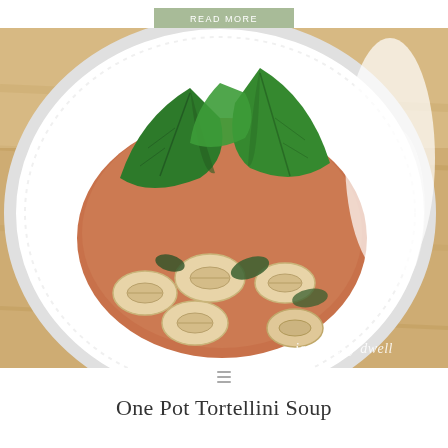READ MORE
[Figure (photo): A white plate of tortellini soup with tomato-cream broth, fresh basil leaves garnish, served on a wooden table. Watermark reads 'joyFULLy dwell'.]
One Pot Tortellini Soup